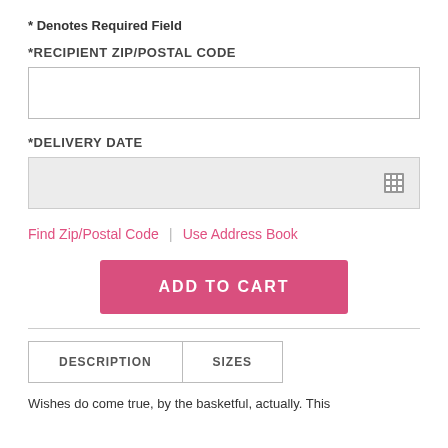* Denotes Required Field
*RECIPIENT ZIP/POSTAL CODE
[Figure (other): Text input field for recipient zip/postal code (empty white box with border)]
*DELIVERY DATE
[Figure (other): Date input field with gray background and calendar icon on the right]
Find Zip/Postal Code | Use Address Book
[Figure (other): Pink 'ADD TO CART' button]
| DESCRIPTION | SIZES |
| --- | --- |
Wishes do come true, by the basketful, actually. This